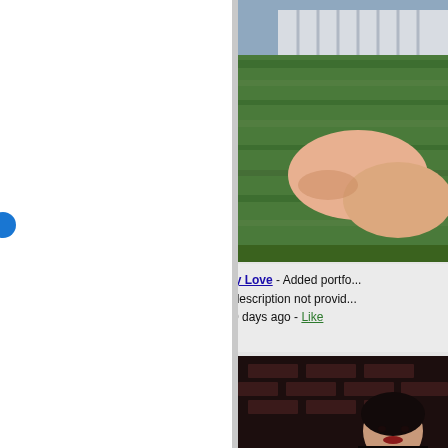[Figure (screenshot): Social media / portfolio website screenshot. Left panel is white with a blue circle/button on the left edge. Right column shows two photos of a young woman and an activity card with user Brittney Love who added a portfolio image.]
Brittney Love - Added portfolio image. Image description not provided. Over 30 days ago - Like